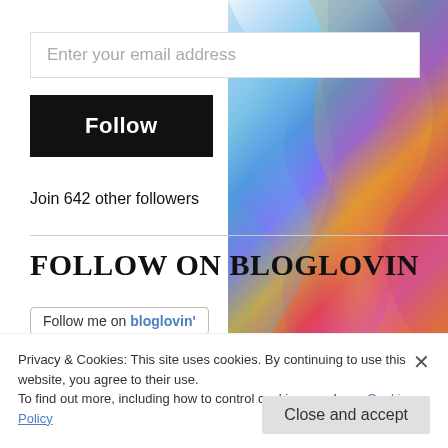[Figure (illustration): Abstract colorful swirling paint art background on the right side of the page with blue, purple, yellow, orange, red, and cyan colors]
Enter your email address
Follow
Join 642 other followers
FOLLOW ON BLOGLOVIN
Follow me on bloglovin'
Privacy & Cookies: This site uses cookies. By continuing to use this website, you agree to their use.
To find out more, including how to control cookies, see here: Cookie Policy
Close and accept